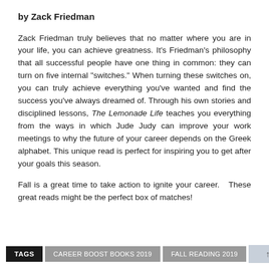by Zack Friedman
Zack Friedman truly believes that no matter where you are in your life, you can achieve greatness. It’s Friedman’s philosophy that all successful people have one thing in common: they can turn on five internal “switches.” When turning these switches on, you can truly achieve everything you’ve wanted and find the success you’ve always dreamed of. Through his own stories and disciplined lessons, The Lemonade Life teaches you everything from the ways in which Jude Judy can improve your work meetings to why the future of your career depends on the Greek alphabet. This unique read is perfect for inspiring you to get after your goals this season.
Fall is a great time to take action to ignite your career.   These great reads might be the perfect box of matches!
TAGS   CAREER BOOST BOOKS 2019   FALL READING 2019